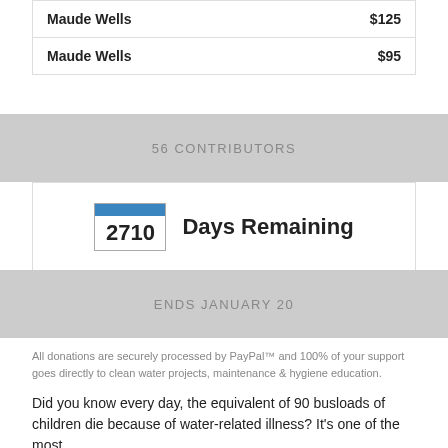| Name | Amount |
| --- | --- |
| Maude Wells | $125 |
| Maude Wells | $95 |
56 CONTRIBUTORS
2710 Days Remaining
ENDS JANUARY 20
All donations are securely processed by PayPal™ and 100% of your support goes directly to clean water projects, maintenance & hygiene education.
Did you know every day, the equivalent of 90 busloads of children die because of water-related illness? It's one of the most